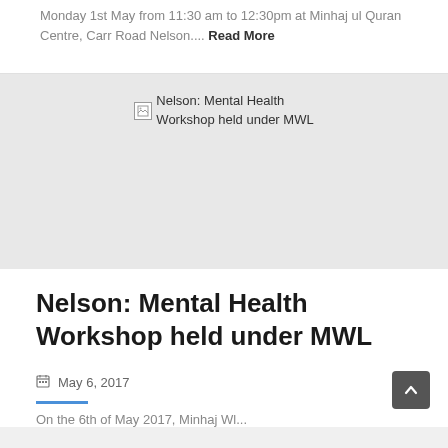Monday 1st May from 11:30 am to 12:30pm at Minhaj ul Quran Centre, Carr Road Nelson.... Read More
[Figure (photo): Broken image placeholder for 'Nelson: Mental Health Workshop held under MWL']
Nelson: Mental Health Workshop held under MWL
May 6, 2017
On the 6th of May 2017, Minhaj Welfare...